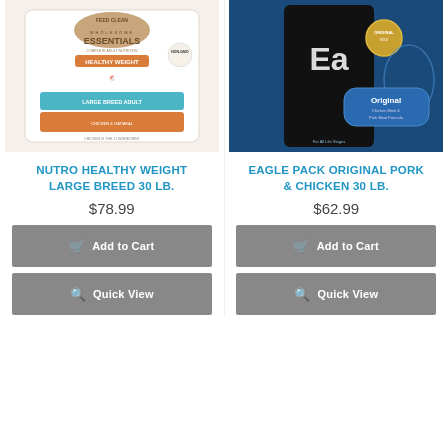[Figure (photo): Nutro Wholesome Essentials Healthy Weight Large Breed Adult dog food bag, white/cream background with chicken illustration]
[Figure (photo): Eagle Pack Original Chicken Meal & Pork Meal Formula dog food bag, dark blue background with dog illustration and gold seal]
NUTRO HEALTHY WEIGHT LARGE BREED 30 LB.
EAGLE PACK ORIGINAL PORK & CHICKEN 30 LB.
$78.99
$62.99
Add to Cart
Add to Cart
Quick View
Quick View